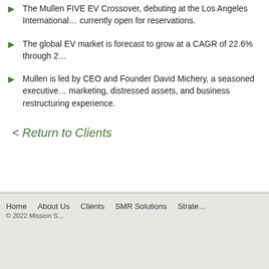The Mullen FIVE EV Crossover, debuting at the Los Angeles International Auto Show, is currently open for reservations.
The global EV market is forecast to grow at a CAGR of 22.6% through 2...
Mullen is led by CEO and Founder David Michery, a seasoned executive with marketing, distressed assets, and business restructuring experience.
< Return to Clients
Home   About Us   Clients   SMR Solutions   Strate...   © 2022 Mission S...
[Figure (logo): IRTH Communications logo with globe icon]
[Figure (logo): Minyanville logo with cartoon character figures]